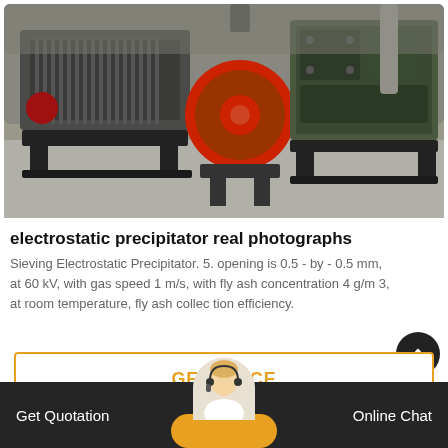[Figure (photo): Industrial electrostatic precipitator machinery in a factory/warehouse setting, showing two large heavy industrial machines on metal frames, one with a prominent red circular wheel/pulley]
electrostatic precipitator real photographs
Sieving Electrostatic Precipitator. 5. opening is 0.5 - by - 0.5 mm, at 60 kV, with gas speed 1 m/s, with fly ash concentration 4 g/m 3, at room temperature, fly ash collec tion efficiency.
GET PRICE
Get Quotation   Online Chat